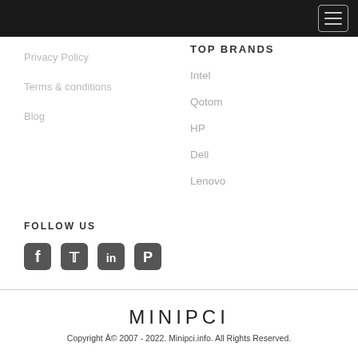Navigation bar with hamburger menu
Privacy Policy
Terms & conditions
Blog
TOP BRANDS
Intel
Qotom
HP
Dell
Lenovo
FOLLOW US
[Figure (infographic): Social media icons: Facebook, Twitter, LinkedIn, Pinterest]
MINIPCI
Copyright Â© 2007 - 2022. Minipci.info. All Rights Reserved.